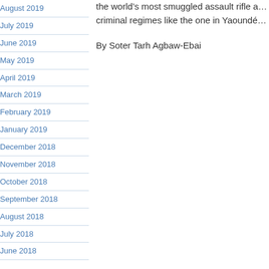August 2019
July 2019
June 2019
May 2019
April 2019
March 2019
February 2019
January 2019
December 2018
November 2018
October 2018
September 2018
August 2018
July 2018
June 2018
the world’s most smuggled assault rifle a... criminal regimes like the one in Yaoundé...
By Soter Tarh Agbaw-Ebai